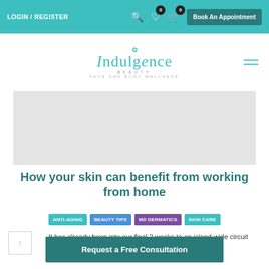LOGIN / REGISTER | Book An Appointment
[Figure (logo): Indulgence Beauty Face and Body Wellness logo in teal color]
[Figure (photo): Light gray hero image placeholder banner]
How your skin can benefit from working from home
ANTI-AGING   BEAUTY TIPS   MD DERMATICS   SKIN CARE
It has already been into our final 2 weeks to an island-wide circuit br... nade its...
Request a Free Consultation